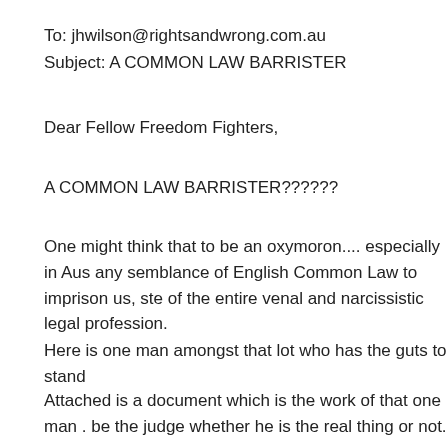To: jhwilson@rightsandwrong.com.au
Subject: A COMMON LAW BARRISTER
Dear Fellow Freedom Fighters,
A COMMON LAW BARRISTER??????
One might think that to be an oxymoron.... especially in Aus any semblance of English Common Law to imprison us, ste of the entire venal and narcissistic legal profession.
Here is one man amongst that lot who has the guts to stand
Attached is a document which is the work of that one man . be the judge whether he is the real thing or not.